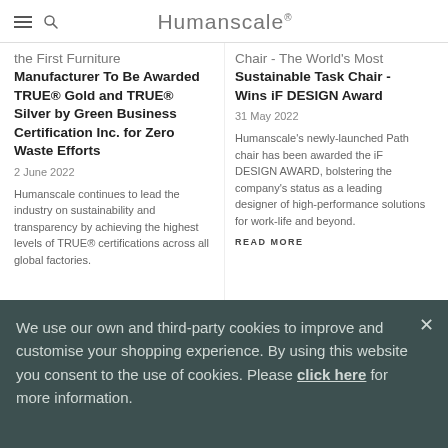Humanscale
the First Furniture Manufacturer To Be Awarded TRUE® Gold and TRUE® Silver by Green Business Certification Inc. for Zero Waste Efforts
2 June 2022
Humanscale continues to lead the industry on sustainability and transparency by achieving the highest levels of TRUE® certifications across all global factories.
Chair - The World's Most Sustainable Task Chair - Wins iF DESIGN Award
31 May 2022
Humanscale's newly-launched Path chair has been awarded the iF DESIGN AWARD, bolstering the company's status as a leading designer of high-performance solutions for work-life and beyond.
READ MORE
We use our own and third-party cookies to improve and customise your shopping experience. By using this website you consent to the use of cookies. Please click here for more information.